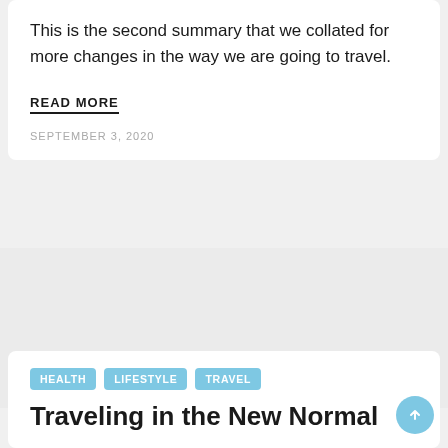This is the second summary that we collated for more changes in the way we are going to travel.
READ MORE
SEPTEMBER 3, 2020
HEALTH
LIFESTYLE
TRAVEL
Traveling in the New Normal